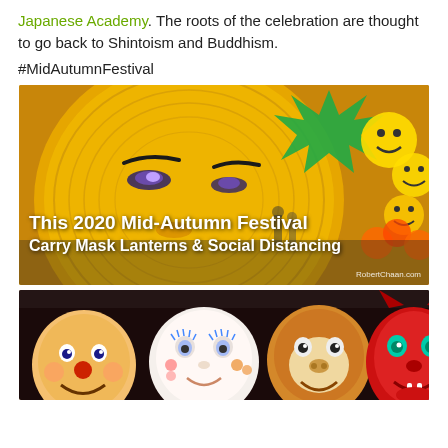Japanese Academy. The roots of the celebration are thought to go back to Shintoism and Buddhism.
#MidAutumnFestival
[Figure (photo): Mid-Autumn Festival lantern display featuring a large golden face lantern and colorful decorations including a green star-shaped lantern and smiley face lanterns, with overlay text reading 'This 2020 Mid-Autumn Festival Carry Mask Lanterns & Social Distancing' and watermark 'RobertChaan.com']
[Figure (photo): Multiple colorful festival masks displayed together including a clown mask, white face mask, monkey mask, and red devil mask]